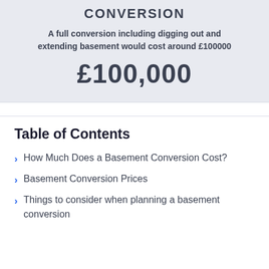CONVERSION
A full conversion including digging out and extending basement would cost around £100000
£100,000
Table of Contents
How Much Does a Basement Conversion Cost?
Basement Conversion Prices
Things to consider when planning a basement conversion